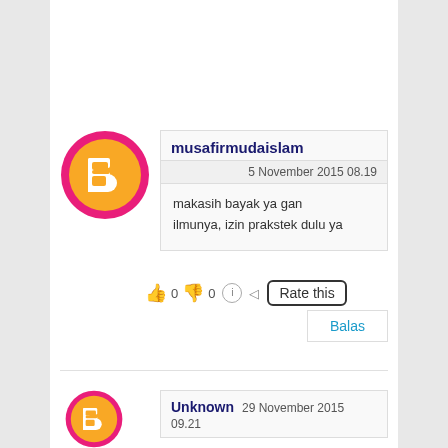[Figure (other): Blogger avatar icon - orange circle with pink/red border and white B logo]
musafirmudaislam
5 November 2015 08.19
makasih bayak ya gan ilmunya, izin prakstek dulu ya
👍 0 👎 0 ℹ ◁ Rate this
Balas
[Figure (other): Blogger avatar icon - orange circle with pink/red border and white B logo (partially visible)]
Unknown  29 November 2015 09.21